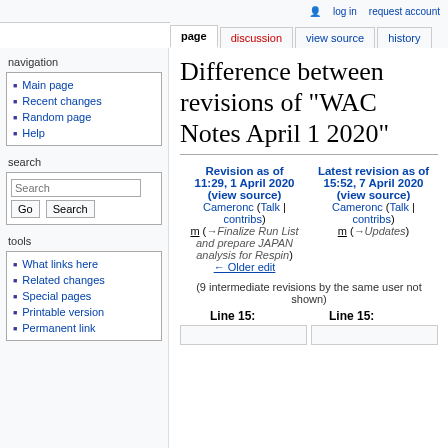log in   request account
page | discussion | view source | history
Difference between revisions of "WAC Notes April 1 2020"
Revision as of 11:29, 1 April 2020 (view source) Cameronc (Talk | contribs) m (→Finalize Run List and prepare JAPAN analysis for Respin) ← Older edit
Latest revision as of 15:52, 7 April 2020 (view source) Cameronc (Talk | contribs) m (→Updates)
(9 intermediate revisions by the same user not shown)
Line 15:   Line 15:
navigation
Main page
Recent changes
Random page
Help
search
tools
What links here
Related changes
Special pages
Printable version
Permanent link